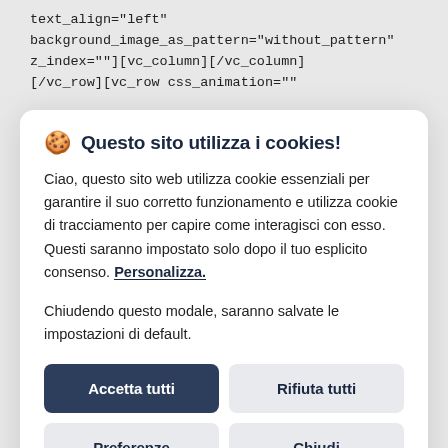text_align="left"
background_image_as_pattern="without_pattern"
z_index=""][vc_column][/vc_column]
[/vc_row][vc_row css_animation="
🍪 Questo sito utilizza i cookies!
Ciao, questo sito web utilizza cookie essenziali per garantire il suo corretto funzionamento e utilizza cookie di tracciamento per capire come interagisci con esso. Questi saranno impostato solo dopo il tuo esplicito consenso. Personalizza.
Chiudendo questo modale, saranno salvate le impostazioni di default.
Accetta tutti
Rifiuta tutti
Preferenze
Chiudi